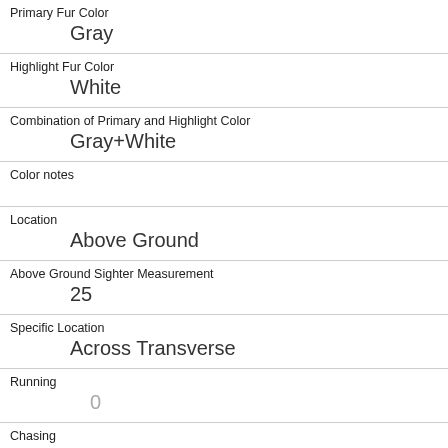| Primary Fur Color | Gray |
| Highlight Fur Color | White |
| Combination of Primary and Highlight Color | Gray+White |
| Color notes |  |
| Location | Above Ground |
| Above Ground Sighter Measurement | 25 |
| Specific Location | Across Transverse |
| Running | 0 |
| Chasing | 0 |
| Climbing | 1 |